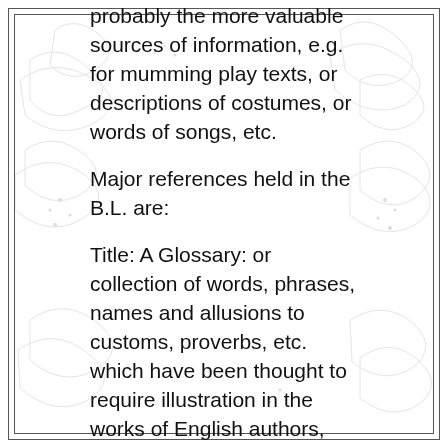probably the more valuable sources of information, e.g. for mumming play texts, or descriptions of costumes, or words of songs, etc.
Major references held in the B.L. are:
Title: A Glossary: or collection of words, phrases, names and allusions to customs, proverbs, etc. which have been thought to require illustration in the works of English authors, particularly Shakespare and his contemporaries.
Title: A new